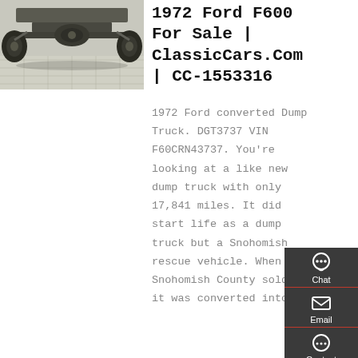[Figure (photo): Undercarriage view of a truck (axle, tires, frame visible from below) on a tiled floor]
1972 Ford F600 For Sale | ClassicCars.Com | CC-1553316
1972 Ford converted Dump Truck. DGT3737 VIN F60CRN43737. You're looking at a like new dump truck with only 17,841 miles. It did start life as a dump truck but a Snohomish rescue vehicle. When Snohomish County sold it it was converted into